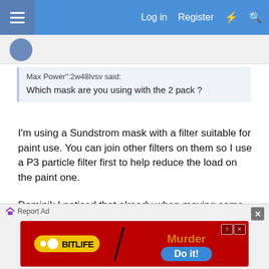Log in  Register
Max Power":2w48lvsv said:
Which mask are you using with the 2 pack ?
I'm using a Sundstrom mask with a filter suitable for paint use. You can join other filters on them so I use a P3 particle filter first to help reduce the load on the paint one.

Dominik I noticed that already when moving some parts ready for topcoat I knocked it and a chip flew off. I don't know if the 2 pack will help prevent this. I found when using enamel it would chip easily.
[Figure (screenshot): BitLife app advertisement banner with 'Murder Do it!' call to action]